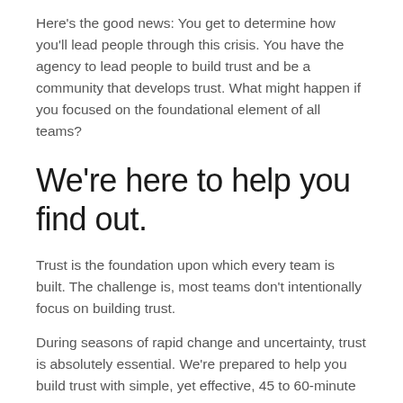Here's the good news: You get to determine how you'll lead people through this crisis. You have the agency to lead people to build trust and be a community that develops trust. What might happen if you focused on the foundational element of all teams?
We're here to help you find out.
Trust is the foundation upon which every team is built. The challenge is, most teams don't intentionally focus on building trust.
During seasons of rapid change and uncertainty, trust is absolutely essential. We're prepared to help you build trust with simple, yet effective, 45 to 60-minute